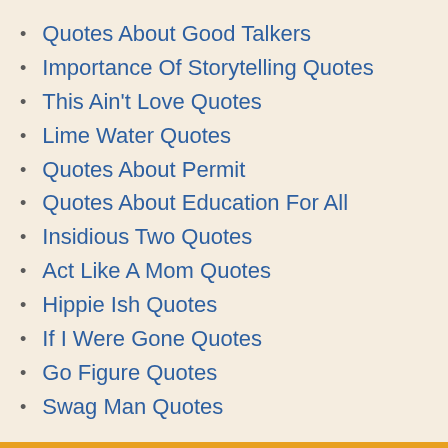Quotes About Good Talkers
Importance Of Storytelling Quotes
This Ain't Love Quotes
Lime Water Quotes
Quotes About Permit
Quotes About Education For All
Insidious Two Quotes
Act Like A Mom Quotes
Hippie Ish Quotes
If I Were Gone Quotes
Go Figure Quotes
Swag Man Quotes